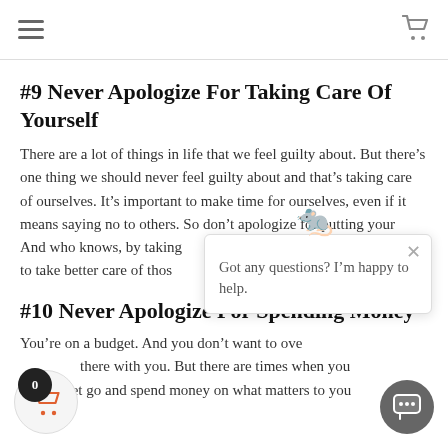Navigation header with hamburger menu and cart icon
#9 Never Apologize For Taking Care Of Yourself
There are a lot of things in life that we feel guilty about. But there's one thing we should never feel guilty about and that's taking care of ourselves. It's important to make time for ourselves, even if it means saying no to others. So don't apologize for putting your… And who knows, by taking… to take better care of thos…
[Figure (other): Chat popup with mascot icon showing 'Got any questions? I'm happy to help.' with a close button]
#10 Never Apologize For Spending Money
You're on a budget. And you don't want to ove… there with you. But there are times when you… have to let go and spend money on what matters to you.